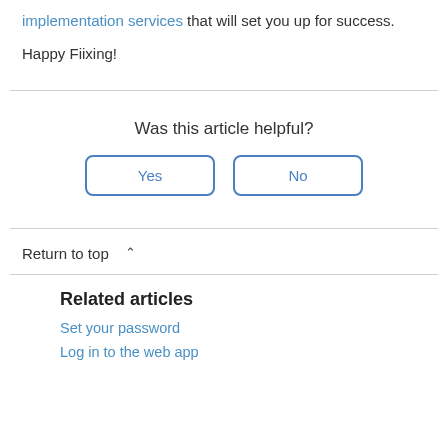implementation services that will set you up for success.
Happy Fiixing!
Was this article helpful?
Yes
No
Return to top ^
Related articles
Set your password
Log in to the web app